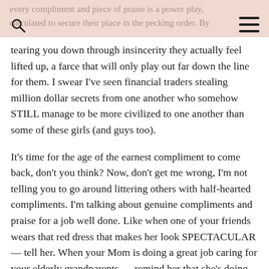every compliment and piece of praise is a power play, calculated to secure their place in the pecking order. By
tearing you down through insincerity they actually feel lifted up, a farce that will only play out far down the line for them. I swear I've seen financial traders stealing million dollar secrets from one another who somehow STILL manage to be more civilized to one another than some of these girls (and guys too).
It's time for the age of the earnest compliment to come back, don't you think? Now, don't get me wrong, I'm not telling you to go around littering others with half-hearted compliments. I'm talking about genuine compliments and praise for a job well done. Like when one of your friends wears that red dress that makes her look SPECTACULAR — tell her. When your Mom is doing a great job caring for your elderly grandparents — remind her that she's doing an amazing job. Or when your spouse FINALLY gets that deal